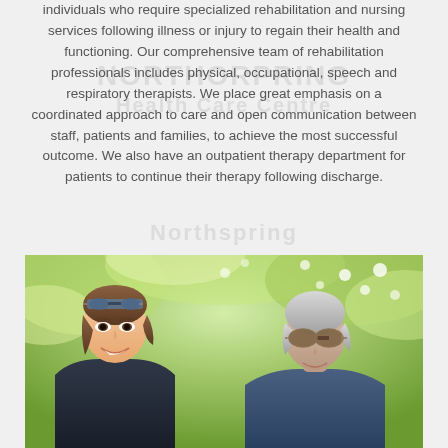individuals who require specialized rehabilitation and nursing services following illness or injury to regain their health and functioning. Our comprehensive team of rehabilitation professionals includes physical, occupational, speech and respiratory therapists. We place great emphasis on a coordinated approach to care and open communication between staff, patients and families, to achieve the most successful outcome. We also have an outpatient therapy department for patients to continue their therapy following discharge.
[Figure (photo): Photo of a smiling young woman with sunglasses on her head and an elderly person wearing sunglasses, both outdoors with green foliage in the background.]